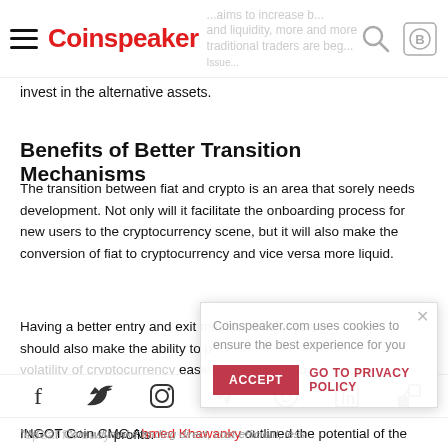Coinspeaker
invest in the alternative assets.
Benefits of Better Transition Mechanisms
The transition between fiat and crypto is an area that sorely needs development. Not only will it facilitate the onboarding process for new users to the cryptocurrency scene, but it will also make the conversion of fiat to cryptocurrency and vice versa more liquid.
Having a better entry and exit mechanisms in place should also make the ability to profit from the volatility of cryptocurrency easier. Enter a crypto, exchange for a fiat when it reaches a high, and reenter with the same fiat at a low. Rinse and repeat for easy profits.
INGOT Coin CMO Ahmed Khawanky outlined the potential of the ecosystem, stating:
[Figure (other): Cookie consent overlay with ACCEPT button and GO TO PRIVACY POLICY link]
[Figure (other): Social media sharing bar with Facebook, Twitter, Instagram, Telegram, Reddit, LinkedIn, and another icon]
"INGOT Coin will make trading direct, cost-efficient, less